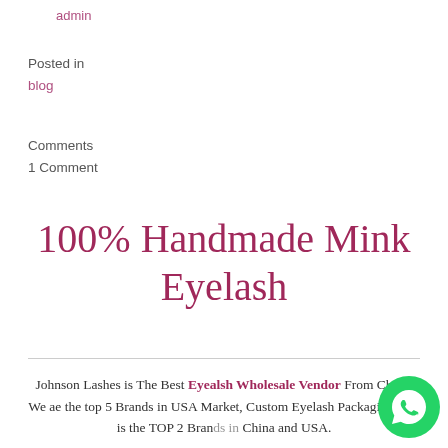admin
Posted in
blog
Comments
1 Comment
100% Handmade Mink Eyelash
Johnson Lashes is The Best Eyealsh Wholesale Vendor From China, We ae the top 5 Brands in USA Market, Custom Eyelash Packaging Box is the TOP 2 Brands in China and USA.